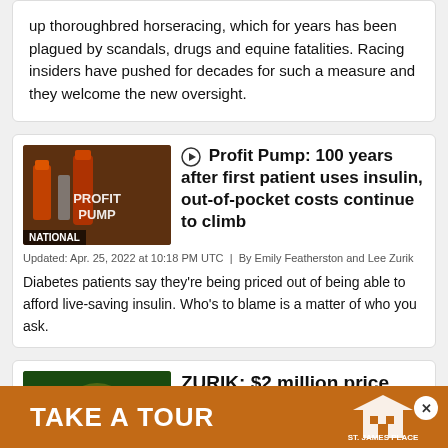up thoroughbred horseracing, which for years has been plagued by scandals, drugs and equine fatalities. Racing insiders have pushed for decades for such a measure and they welcome the new oversight.
Profit Pump: 100 years after first patient uses insulin, out-of-pocket costs continue to climb
Updated: Apr. 25, 2022 at 10:18 PM UTC  |  By Emily Featherston and Lee Zurik
Diabetes patients say they're being priced out of being able to afford live-saving insulin. Who's to blame is a matter of who you ask.
ZURIK: $2 million price tag, little oversight for rem...
[Figure (other): Advertisement banner: TAKE A TOUR with St. James Place logo on orange background]